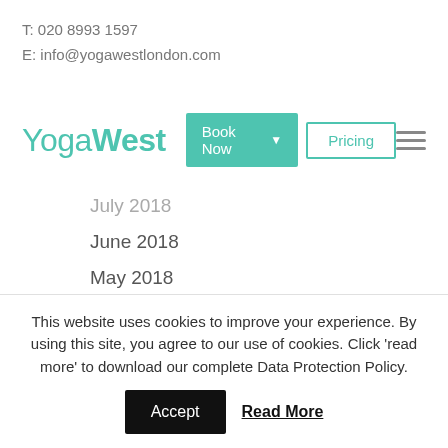T: 020 8993 1597
E: info@yogawestlondon.com
[Figure (screenshot): YogaWest website navigation bar with logo, Book Now button with dropdown arrow, Pricing button, and hamburger menu icon]
July 2018
June 2018
May 2018
April 2018
March 2018
This website uses cookies to improve your experience. By using this site, you agree to our use of cookies. Click 'read more' to download our complete Data Protection Policy.
Accept   Read More